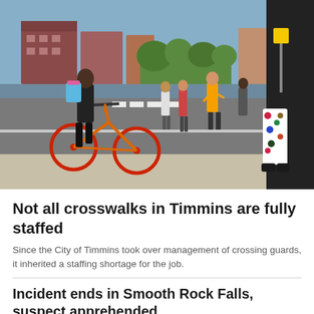[Figure (photo): Outdoor street crossing scene with a person riding an orange BMX bicycle carrying a backpack, several pedestrians crossing the street, a crossing guard in an orange safety vest, and another pedestrian in colorful patterned pants on the right side. Buildings and trees visible in background.]
Not all crosswalks in Timmins are fully staffed
Since the City of Timmins took over management of crossing guards, it inherited a staffing shortage for the job.
Incident ends in Smooth Rock Falls, suspect apprehended